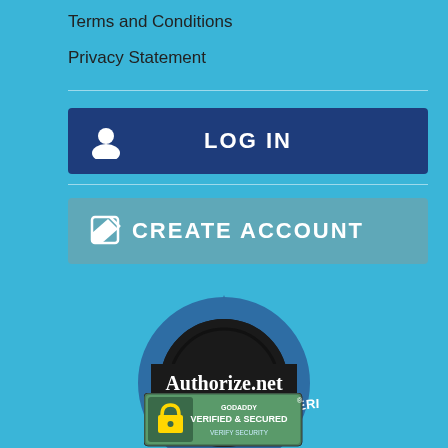Terms and Conditions
Privacy Statement
[Figure (screenshot): LOG IN button with user icon, dark navy blue background]
[Figure (screenshot): CREATE ACCOUNT button with edit icon, teal/muted blue background]
[Figure (logo): Authorize.net Verified Merchant badge seal]
[Figure (logo): GoDaddy Verified and Secured badge]